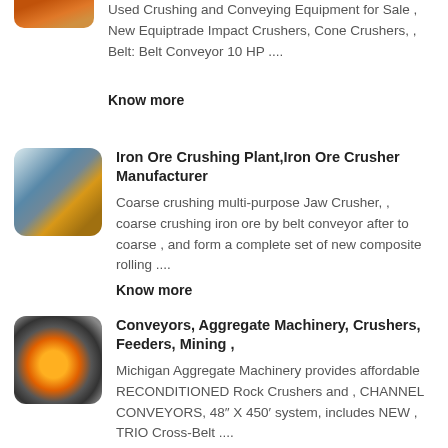[Figure (photo): Partial thumbnail image of crushing/conveying equipment, cut off at top]
Used Crushing and Conveying Equipment for Sale , New Equiptrade Impact Crushers, Cone Crushers, , Belt: Belt Conveyor 10 HP ....
Know more
[Figure (photo): Thumbnail image of iron ore crushing plant with conveyor belt machinery]
Iron Ore Crushing Plant,Iron Ore Crusher Manufacturer
Coarse crushing multi-purpose Jaw Crusher, , coarse crushing iron ore by belt conveyor after to coarse , and form a complete set of new composite rolling ....
Know more
[Figure (photo): Thumbnail image of conveyor machinery with orange and grey equipment]
Conveyors, Aggregate Machinery, Crushers, Feeders, Mining ,
Michigan Aggregate Machinery provides affordable RECONDITIONED Rock Crushers and , CHANNEL CONVEYORS, 48″ X 450’ system, includes NEW , TRIO Cross-Belt ....
Know more